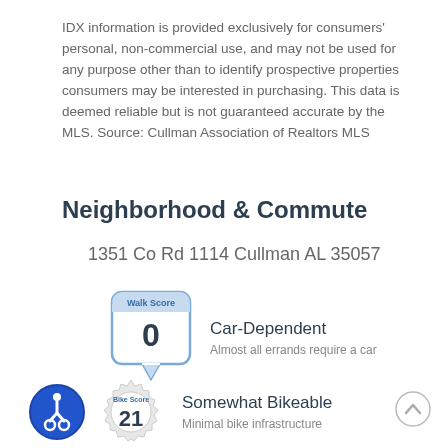IDX information is provided exclusively for consumers' personal, non-commercial use, and may not be used for any purpose other than to identify prospective properties consumers may be interested in purchasing. This data is deemed reliable but is not guaranteed accurate by the MLS. Source: Cullman Association of Realtors MLS
Neighborhood & Commute
1351 Co Rd 1114 Cullman AL 35057
[Figure (infographic): Walk Score badge showing score of 0, Car-Dependent. Almost all errands require a car.]
[Figure (infographic): Bike Score badge showing score of 21, Somewhat Bikeable. Minimal bike infrastructure.]